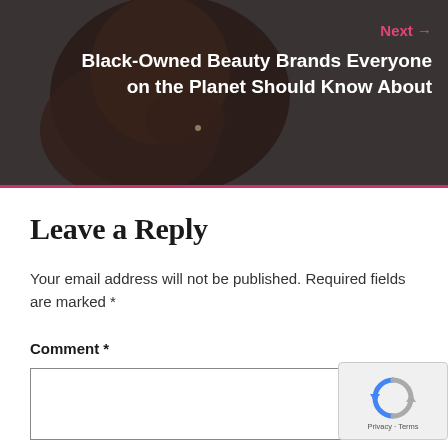[Figure (photo): Close-up photo of a dark-skinned woman's face, with her hand near her chin, on a dark gray background with dark overlay]
Next →
Black-Owned Beauty Brands Everyone on the Planet Should Know About
Leave a Reply
Your email address will not be published. Required fields are marked *
Comment *
[Figure (other): reCAPTCHA badge with spinning arrows icon and Privacy · Terms text]